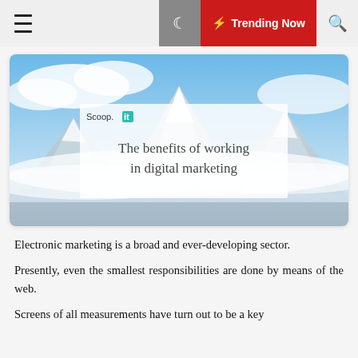≡  🌙  ⚡ Trending Now  🔍
[Figure (illustration): Hero image showing snowy mountain peaks with blue sky and clouds. Overlaid is a semi-transparent white box containing the Scoop.it logo and the title text 'The benefits of working in digital marketing'.]
Electronic marketing is a broad and ever-developing sector.
Presently, even the smallest responsibilities are done by means of the web.
Screens of all measurements have turn out to be a key